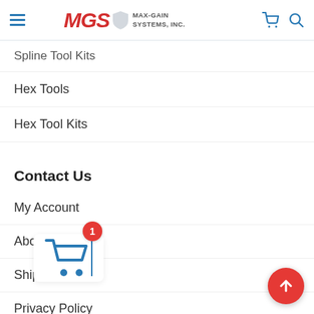MGS MAX-GAIN SYSTEMS, INC.
Spline Tool Kits
Hex Tools
Hex Tool Kits
Contact Us
My Account
About Us
Shipping
Privacy Policy
Terms & Conditions
r…icy
Links
S…hedule
[Figure (illustration): Shopping cart icon with red badge showing number 1, overlaid on page content]
[Figure (illustration): Red circular scroll-to-top button with white upward arrow]